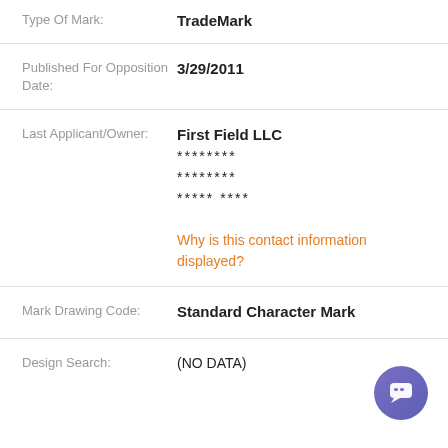Type Of Mark: TradeMark
Published For Opposition Date: 3/29/2011
Last Applicant/Owner: First Field LLC ******** ******** ***** **** Why is this contact information displayed?
Mark Drawing Code: Standard Character Mark
Design Search: (NO DATA)